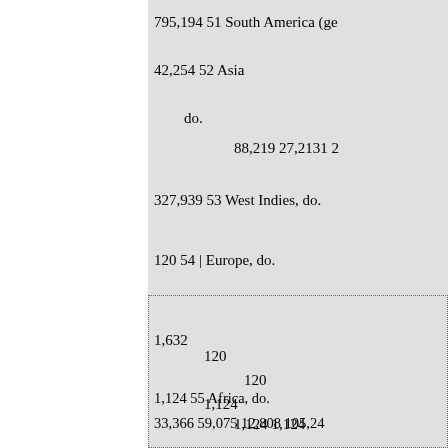| 795,194 | 51 | South America (ge... |
| 42,254 | 52 | Asia |
|  | do. |
| 88,219 | 27,2131 | 2... |
| 327,939 | 53 | West Indies, do. |
| 120 | 54 | | Europe, do. |
| 1,632 |  |  |
| 120 |  |  |
| 120 |  |  |
| 1,124 |  |  |
| 1,124 | 1,124 |  |
| 1,124 | 55 | Africa, do. |
| 33,366 | 59,075 | 12,808 | 105,24... |